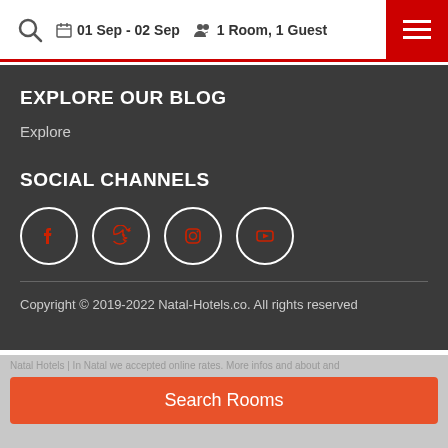01 Sep - 02 Sep  |  1 Room, 1 Guest
EXPLORE OUR BLOG
Explore
SOCIAL CHANNELS
[Figure (infographic): Four circular social media icons: Facebook, Twitter, Instagram, YouTube]
Copyright © 2019-2022 Natal-Hotels.co. All rights reserved
Natal Hotels | In Natal we accepted online rates. More infos and about and
Search Rooms